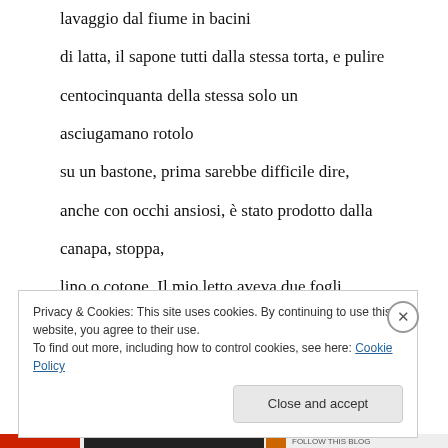lavaggio dal fiume in bacini
di latta, il sapone tutti dalla stessa torta, e pulire
centocinquanta della stessa solo un asciugamano rotolo
su un bastone, prima sarebbe difficile dire,
anche con occhi ansiosi, è stato prodotto dalla canapa, stoppa,
lino o cotone. Il mio letto aveva due fogli,
naturalmente, misura sette ottavi di un metro largo, il mio
cuscino era pieno di gusci di mais Harris andò
Privacy & Cookies: This site uses cookies. By continuing to use this website, you agree to their use.
To find out more, including how to control cookies, see here: Cookie Policy
Close and accept